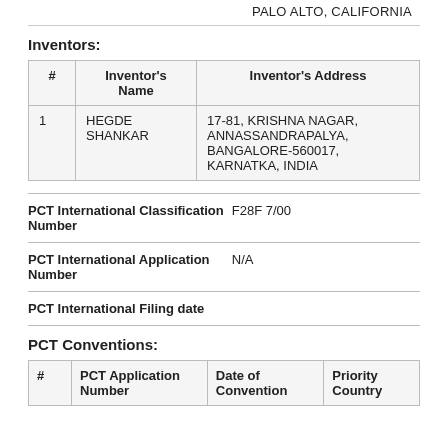PALO ALTO, CALIFORNIA
Inventors:
| # | Inventor's Name | Inventor's Address |
| --- | --- | --- |
| 1 | HEGDE SHANKAR | 17-81, KRISHNA NAGAR, ANNASSANDRAPALYA, BANGALORE-560017, KARNATKA, INDIA |
| PCT International Classification Number | F28F 7/00 |
| --- | --- |
| PCT International Application Number | N/A |
| --- | --- |
| PCT International Filing date |  |
| --- | --- |
PCT Conventions:
| # | PCT Application Number | Date of Convention | Priority Country |
| --- | --- | --- | --- |